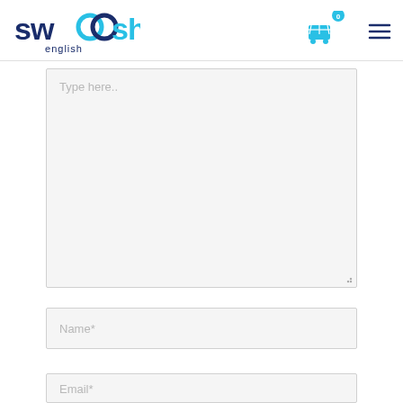[Figure (logo): Swoosh English logo — stylized blue text 'swoosh' with circular swoosh accent and word 'english' below in dark navy]
[Figure (infographic): Shopping cart icon with badge showing 0, and hamburger menu icon — navigation icons in cyan/teal color]
Type here..
Name*
Email*